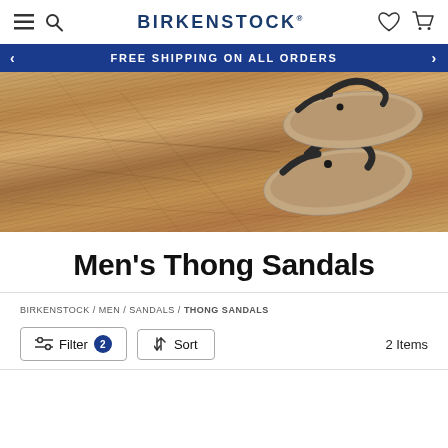BIRKENSTOCK
FREE SHIPPING ON ALL ORDERS
[Figure (photo): Hero image of Birkenstock thong sandals placed on weathered wood surface]
Men's Thong Sandals
BIRKENSTOCK / MEN / SANDALS / THONG SANDALS
Filter 2  Sort  2 Items